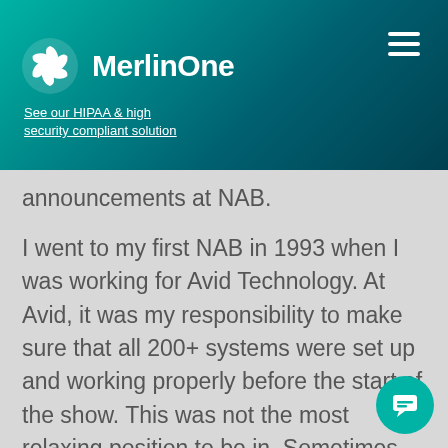MerlinOne — See our HIPAA & high security compliant solution
announcements at NAB.
I went to my first NAB in 1993 when I was working for Avid Technology. At Avid, it was my responsibility to make sure that all 200+ systems were set up and working properly before the start of the show. This was not the most relaxing position to be in. Sometimes the hardware just didn't want to cooperate. The worst years were the ones when the comp maker decided to reduce the number of ca slots, requiring us to strap on a trouble-prone